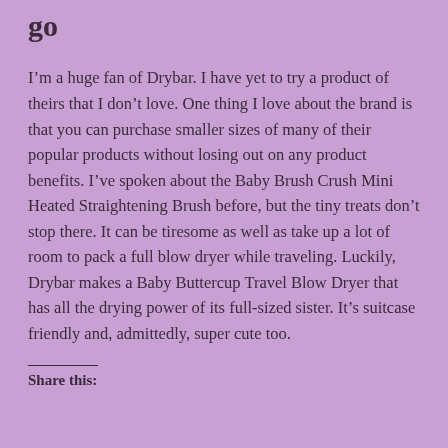go
I’m a huge fan of Drybar. I have yet to try a product of theirs that I don’t love. One thing I love about the brand is that you can purchase smaller sizes of many of their popular products without losing out on any product benefits. I’ve spoken about the Baby Brush Crush Mini Heated Straightening Brush before, but the tiny treats don’t stop there. It can be tiresome as well as take up a lot of room to pack a full blow dryer while traveling. Luckily, Drybar makes a Baby Buttercup Travel Blow Dryer that has all the drying power of its full-sized sister. It’s suitcase friendly and, admittedly, super cute too.
Share this: